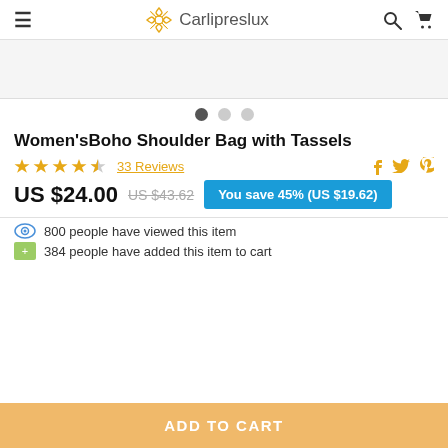Carlipreslux
[Figure (other): Product image placeholder area]
800 people have viewed this item
Women'sBoho Shoulder Bag with Tassels
33 Reviews
US $24.00  US $43.62  You save 45% (US $19.62)
800 people have viewed this item
384 people have added this item to cart